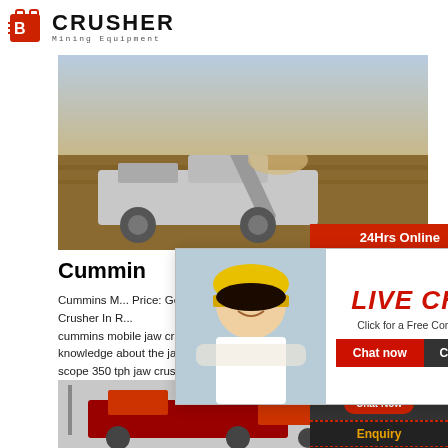[Figure (logo): Crusher Mining Equipment logo with red shopping bag icon and bold CRUSHER text]
[Figure (photo): Mining equipment / mobile jaw crusher operating at an outdoor quarry site]
Cummin
Cummins M... Price: Get L... Crusher In R... cummins mobile jaw crusher solution for there is knowledge about the jaw crusher on the interne... scope 350 tph jaw crushers bl inquiry info on bl... crusher alinahealthfoundationorg info on bl zeni...
Read More
[Figure (photo): Red mobile crushing machinery photo at bottom]
[Figure (screenshot): Live Chat popup overlay with workers in hard hats, LIVE CHAT heading, Click for a Free Consultation, Chat now and Chat later buttons]
[Figure (photo): Right sidebar with 24Hrs Online header, female customer service agent with headset, Need questions & suggestion? section, Chat Now button, Enquiry link, and limingjlmofen@sina.com email]